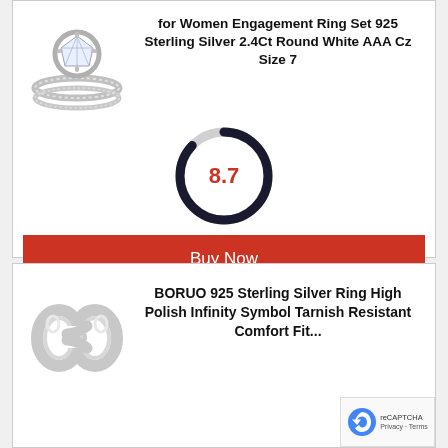[Figure (photo): Silver engagement ring set with round CZ stone]
for Women Engagement Ring Set 925 Sterling Silver 2.4Ct Round White AAA Cz Size 7
[Figure (donut-chart): Score gauge]
Buy Now
[Figure (photo): Sterling silver infinity symbol ring]
BORUO 925 Sterling Silver Ring High Polish Infinity Symbol Tarnish Resistant Comfort Fit...